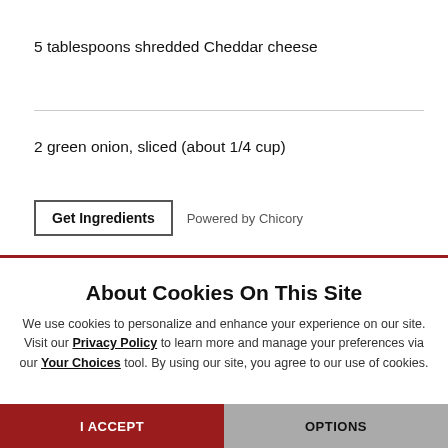5 tablespoons shredded Cheddar cheese
2 green onion, sliced (about 1/4 cup)
Get Ingredients   Powered by Chicory
About Cookies On This Site
We use cookies to personalize and enhance your experience on our site. Visit our Privacy Policy to learn more and manage your preferences via our Your Choices tool. By using our site, you agree to our use of cookies.
I ACCEPT   OPTIONS